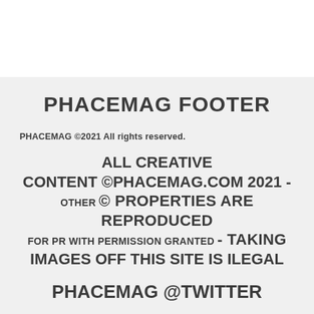PHACEMAG FOOTER
PHACEMAG ©2021 All rights reserved.
ALL CREATIVE CONTENT ©PHACEMAG.COM 2021 - OTHER © PROPERTIES ARE REPRODUCED FOR PR WITH PERMISSION GRANTED - TAKING IMAGES OFF THIS SITE IS ILEGAL
PHACEMAG @TWITTER